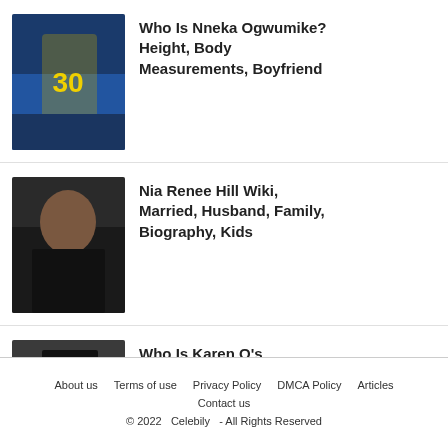[Figure (photo): Basketball player Nneka Ogwumike wearing yellow jersey number 30]
Who Is Nneka Ogwumike? Height, Body Measurements, Boyfriend
[Figure (photo): Portrait of Nia Renee Hill, woman with curly hair in black top]
Nia Renee Hill Wiki, Married, Husband, Family, Biography, Kids
[Figure (photo): Karen O at a cinema event, woman with dark bangs in black outfit]
Who Is Karen O's Husband? Here Are Facts About The American-South...
About us   Terms of use   Privacy Policy   DMCA Policy   Articles   Contact us   © 2022   Celebily   - All Rights Reserved